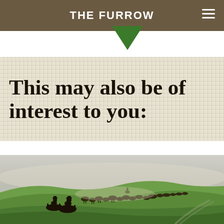THE FURROW
This may also be of interest to you:
[Figure (photo): Cowboys on horseback herding cattle across a vast green misty pasture landscape]